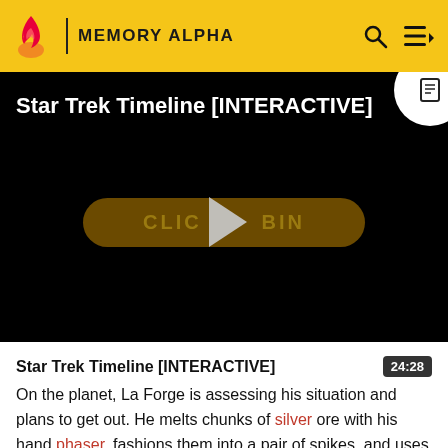MEMORY ALPHA
[Figure (screenshot): Star Trek Timeline [INTERACTIVE] video thumbnail on Memory Alpha wiki. Black background with play button overlay and a 'CLICK TO BEGIN' button. White circle with document icon in top-right corner.]
Star Trek Timeline [INTERACTIVE]
On the planet, La Forge is assessing his situation and plans to get out. He melts chunks of silver ore with his hand phaser, fashions them into a pair of spikes, and uses them to make an arduous climb out of the pit. Despite the